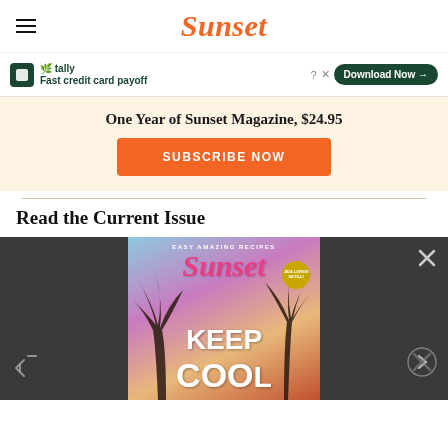Sunset
[Figure (screenshot): Tally advertisement banner: 'Fast credit card payoff' with Download Now button]
One Year of Sunset Magazine, $24.95
SUBSCRIBE NOW
Read the Current Issue
[Figure (photo): Sunset Magazine cover showing 'EASY AMAZING RECIPES', 'KEEP COOL' text over palm trees and sunset sky background]